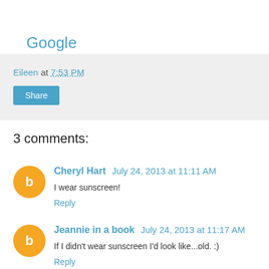Google
Eileen at 7:53 PM
Share
3 comments:
Cheryl Hart  July 24, 2013 at 11:11 AM
I wear sunscreen!
Reply
Jeannie in a book  July 24, 2013 at 11:17 AM
If I didn't wear sunscreen I'd look like...old. :)
Reply